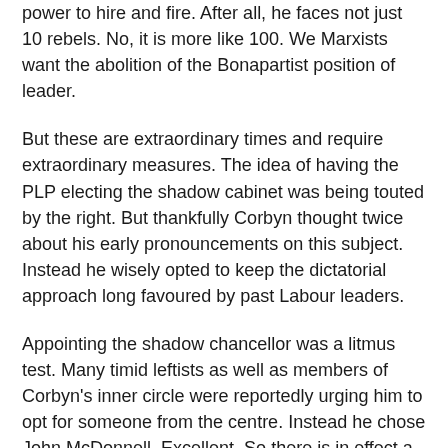power to hire and fire. After all, he faces not just 10 rebels. No, it is more like 100. We Marxists want the abolition of the Bonapartist position of leader.
But these are extraordinary times and require extraordinary measures. The idea of having the PLP electing the shadow cabinet was being touted by the right. But thankfully Corbyn thought twice about his early pronouncements on this subject. Instead he wisely opted to keep the dictatorial approach long favoured by past Labour leaders.
Appointing the shadow chancellor was a litmus test. Many timid leftists as well as members of Corbyn's inner circle were reportedly urging him to opt for someone from the centre. Instead he chose John McDonnell. Excellent. So there is in effect a Corbyn-McDonnell leadership.
Offering shadow cabinet seats to the likes of Andy Burnham, Hilary Benn, Angela Eagle, Lucy Powell [Share / Save]